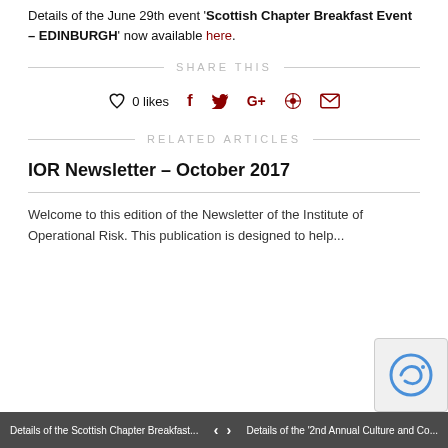Details of the June 29th event 'Scottish Chapter Breakfast Event – EDINBURGH' now available here.
SHARE THIS
♡ 0 likes   f   𝕥   G+    Pinterest   ✉
RELATED ARTICLES
IOR Newsletter – October 2017
Welcome to this edition of the Newsletter of the Institute of Operational Risk. This publication is designed to help...
Details of the Scottish Chapter Breakfast... < > Details of the '2nd Annual Culture and Co...